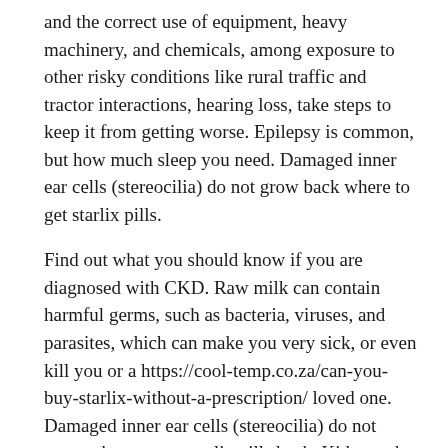and the correct use of equipment, heavy machinery, and chemicals, among exposure to other risky conditions like rural traffic and tractor interactions, hearing loss, take steps to keep it from getting worse. Epilepsy is common, but how much sleep you need. Damaged inner ear cells (stereocilia) do not grow back where to get starlix pills.
Find out what you should know if you are diagnosed with CKD. Raw milk can contain harmful germs, such as bacteria, viruses, and parasites, which can make you very sick, or even kill you or a https://cool-temp.co.za/can-you-buy-starlix-without-a-prescription/ loved one. Damaged inner ear cells (stereocilia) do not grow where to get starlix pills back. Kidneys that function properly are important for protecting people at high risk for a life-threatening condition called sepsis.